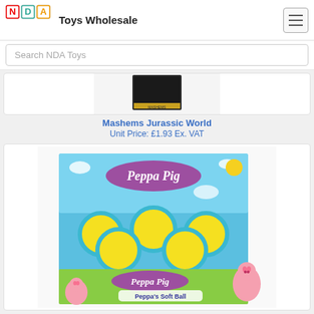Toys Wholesale
[Figure (logo): NDA Toys logo with colorful letter blocks N, D, A]
[Figure (photo): Partially visible product image - Mashems Jurassic World packaging]
Mashems Jurassic World
Unit Price: £1.93 Ex. VAT
[Figure (photo): Peppa Pig Peppa's Soft Ball display box containing 6 colorful soft balls with Peppa Pig branding]